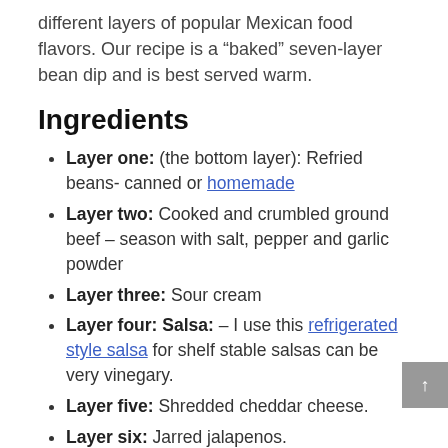different layers of popular Mexican food flavors. Our recipe is a “baked” seven-layer bean dip and is best served warm.
Ingredients
Layer one: (the bottom layer): Refried beans- canned or homemade
Layer two: Cooked and crumbled ground beef – season with salt, pepper and garlic powder
Layer three: Sour cream
Layer four: Salsa: – I use this refrigerated style salsa for shelf stable salsas can be very vinegary.
Layer five: Shredded cheddar cheese.
Layer six: Jarred jalapenos.
Layer seven: Sliced green onions